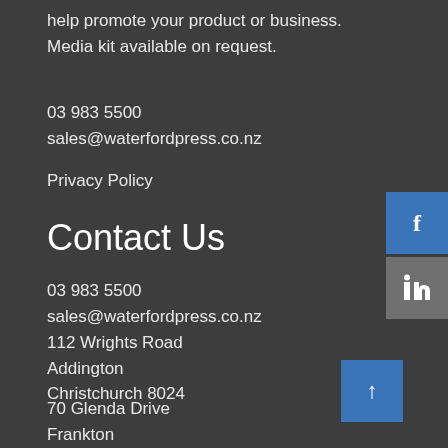help promote your product or business.
Media kit available on request.
03 983 5500
sales@waterfordpress.co.nz
Privacy Policy
Contact Us
03 983 5500
sales@waterfordpress.co.nz
112 Wrights Road
Addington
Christchurch 8024
70 Glenda Drive
Frankton
Queenstown 9371